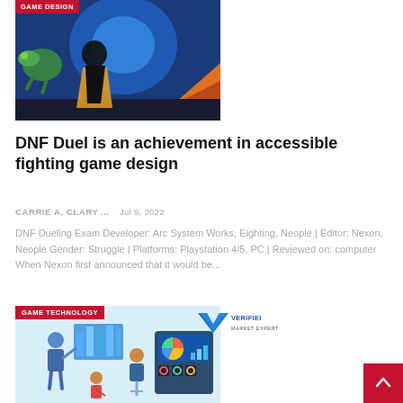[Figure (illustration): Anime-style game artwork showing a character in dark outfit with a creature, orange/blue background. Tag: GAME DESIGN]
DNF Duel is an achievement in accessible fighting game design
CARRIE A. CLARY ...   Jul 9, 2022
DNF Dueling Exam Developer: Arc System Works, Eighting, Neople | Editor: Nexon, Neople Gender: Struggle | Platforms: Playstation 4/5, PC | Reviewed on: computer When Nexon first announced that it would be...
[Figure (illustration): Marketing/technology themed illustration showing people presenting charts and data dashboards. Tags: GAME TECHNOLOGY and Verified Market Expert logo]
[Figure (logo): Verified Market Expert logo with blue V checkmark]